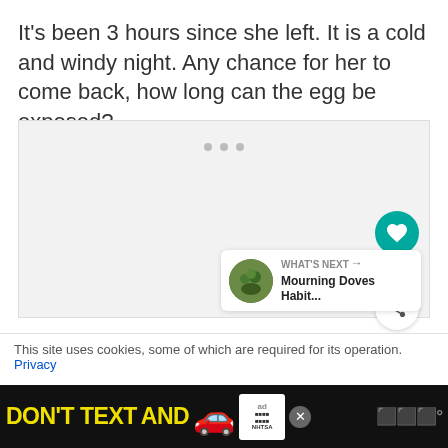It's been 3 hours since she left. It is a cold and windy night. Any chance for her to come back, how long can the egg be exposed?
[Figure (other): Gray content placeholder area with three dots indicating loading or media content]
[Figure (infographic): WHAT'S NEXT arrow label with thumbnail image and text 'Mourning Doves Habit...']
This site uses cookies, some of which are required for its operation. Privacy
[Figure (infographic): Advertisement banner: DON'T TEXT AND [car emoji] ad with NHTSA logo and close button]